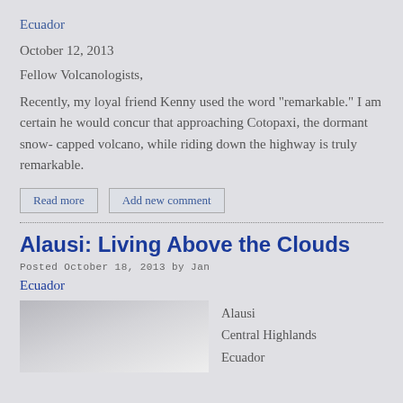Ecuador
October 12, 2013
Fellow Volcanologists,
Recently, my loyal friend Kenny used the word “remarkable.” I am certain he would concur that approaching Cotopaxi, the dormant snow- capped volcano, while riding down the highway is truly remarkable.
Read more
Add new comment
Alausi: Living Above the Clouds
Posted October 18, 2013 by Jan
Ecuador
[Figure (photo): Thumbnail image placeholder (grey gradient)]
Alausi
Central Highlands
Ecuador